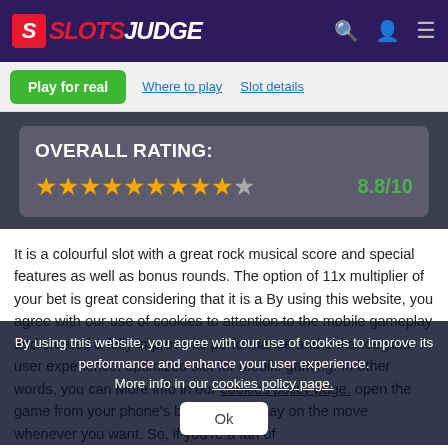SLOTS JUDGE
Play for real | Where to play | Slot details
[Figure (infographic): Overall Rating box with 9 filled gold stars and 1 empty star, score 8.8/10]
It is a colourful slot with a great rock musical score and special features as well as bonus rounds. The option of 11x multiplier of your bet is great considering that it is a By using this website, you agree with our use of cookies to attention to the mobile gameplay and created a fully improve its performance and enhance your user experience. optimized slot for mobile gaming. In other words, you can More info in our cookies policy page. open the game from your phone's browser and play on the move whenever you want. So, if you're a fan of
Ok